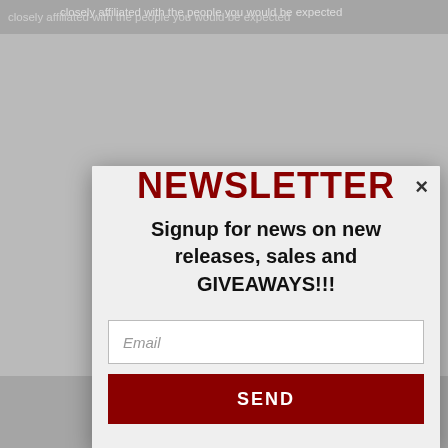closely affiliated with the people you would be expected
[Figure (screenshot): Newsletter signup modal popup overlay on a webpage background. The modal contains a bold dark red 'NEWSLETTER' title, signup text, email input field, and a dark red SEND button. A close (×) button appears in the top right.]
NEWSLETTER
Signup for news on new releases, sales and GIVEAWAYS!!!
Email
SEND
June 6, 2012
curiolindau